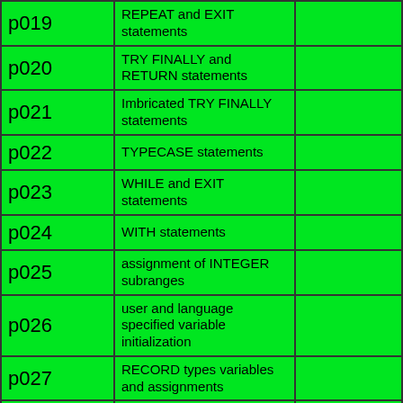| p019 | REPEAT and EXIT statements |  |
| p020 | TRY FINALLY and RETURN statements |  |
| p021 | Imbricated TRY FINALLY statements |  |
| p022 | TYPECASE statements |  |
| p023 | WHILE and EXIT statements |  |
| p024 | WITH statements |  |
| p025 | assignment of INTEGER subranges |  |
| p026 | user and language specified variable initialization |  |
| p027 | RECORD types variables and assignments |  |
| p028 | fixed ARRAY types variables assignments and subscripting |  |
| p029 | nested procedures with up-level variable references |  |
| p030 | non-opaque |  |